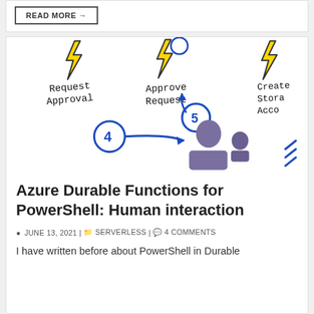READ MORE →
[Figure (illustration): Hand-drawn sketch showing Azure Durable Functions workflow steps: 'Request Approval' (step 4 with arrow), 'Approve Request' (step 5 with person icon), and 'Create Storage Acco...' — each labeled with a yellow lightning bolt icon. Blue circled numbers 4 and 5 with arrows, and a purple person/desk illustration.]
Azure Durable Functions for PowerShell: Human interaction
JUNE 13, 2021 | SERVERLESS | 4 COMMENTS
I have written before about PowerShell in Durable